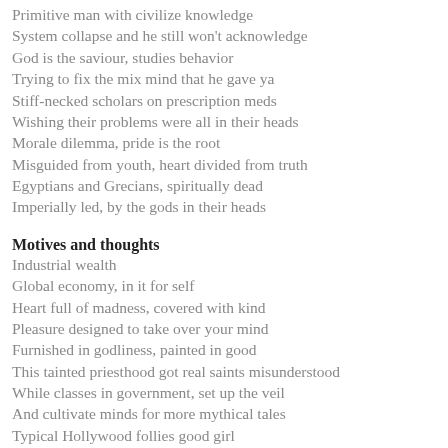Primitive man with civilize knowledge
System collapse and he still won't acknowledge
God is the saviour, studies behavior
Trying to fix the mix mind that he gave ya
Stiff-necked scholars on prescription meds
Wishing their problems were all in their heads
Morale dilemma, pride is the root
Misguided from youth, heart divided from truth
Egyptians and Grecians, spiritually dead
Imperially led, by the gods in their heads
Motives and thoughts
Industrial wealth
Global economy, in it for self
Heart full of madness, covered with kind
Pleasure designed to take over your mind
Furnished in godliness, painted in good
This tainted priesthood got real saints misunderstood
While classes in government, set up the veil
And cultivate minds for more mythical tales
Typical Hollywood follies good girl
While vice and corruption take over the world